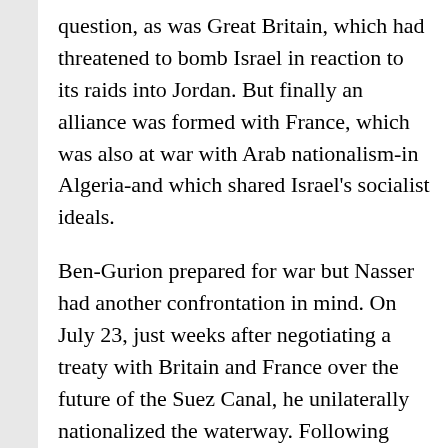question, as was Great Britain, which had threatened to bomb Israel in reaction to its raids into Jordan. But finally an alliance was formed with France, which was also at war with Arab nationalism-in Algeria-and which shared Israel's socialist ideals.
Ben-Gurion prepared for war but Nasser had another confrontation in mind. On July 23, just weeks after negotiating a treaty with Britain and France over the future of the Suez Canal, he unilaterally nationalized the waterway. Following Nasser's threats to Britain's allies in Jordan and Iraq, and to French rule in Algeria, the Europeans were ready to